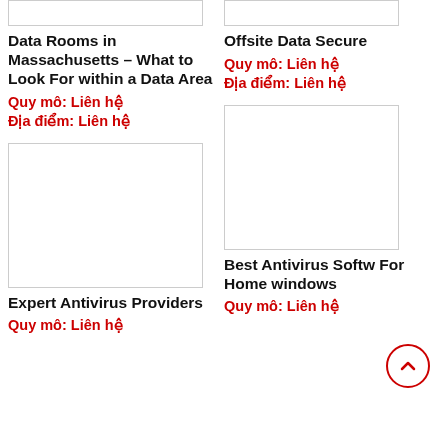[Figure (other): Placeholder image box top left]
Data Rooms in Massachusetts – What to Look For within a Data Area
Quy mô: Liên hệ
Địa điểm: Liên hệ
[Figure (other): Placeholder image box top right]
Offsite Data Secure
Quy mô: Liên hệ
Địa điểm: Liên hệ
[Figure (other): Placeholder image box bottom left large]
Expert Antivirus Providers
Quy mô: Liên hệ
[Figure (other): Placeholder image box bottom right large]
Best Antivirus Softw For Home windows
Quy mô: Liên hệ